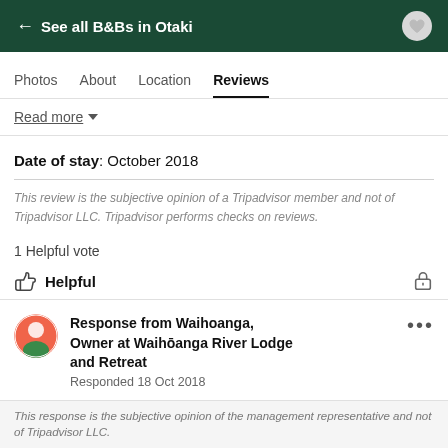← See all B&Bs in Otaki
Photos  About  Location  Reviews
Read more ▼
Date of stay: October 2018
This review is the subjective opinion of a Tripadvisor member and not of Tripadvisor LLC. Tripadvisor performs checks on reviews.
1 Helpful vote
Helpful
Response from Waihoanga, Owner at Waihōanga River Lodge and Retreat
Responded 18 Oct 2018
Thanks Peter, so lovely having you and your group stay - hope to see you here again soon!
This response is the subjective opinion of the management representative and not of Tripadvisor LLC.